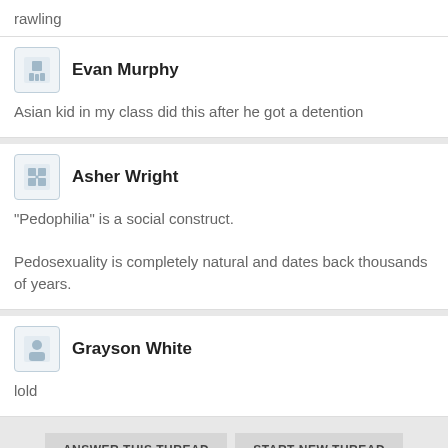rawling
Evan Murphy
Asian kid in my class did this after he got a detention
Asher Wright
"Pedophilia" is a social construct.

Pedosexuality is completely natural and dates back thousands of years.
Grayson White
lold
ANSWER THIS THREAD
START NEW THREAD